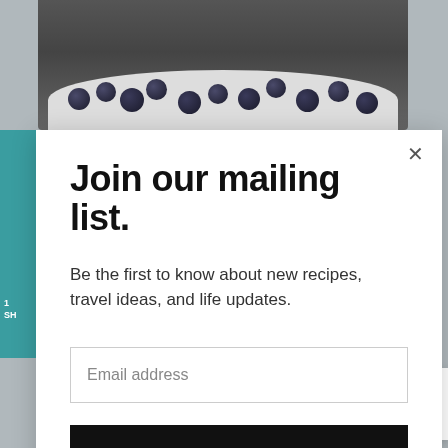[Figure (screenshot): Background screenshot of a food blog page showing a bowl of blueberries at the top, with a teal sidebar, partially visible page content, and a mailing list modal popup overlay in the center.]
Join our mailing list.
Be the first to know about new recipes, travel ideas, and life updates.
Email address
Subscribe
1.7K
WHAT'S NEXT →
Homemade Limoncello...